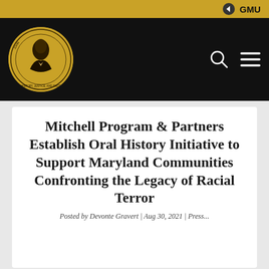GMU
[Figure (logo): John Mitchell Jr. Program for History, Justice, and Race circular logo with portrait illustration on gold background]
Mitchell Program & Partners Establish Oral History Initiative to Support Maryland Communities Confronting the Legacy of Racial Terror
Posted by Devonte Gravert | Aug 30, 2021 | Press...